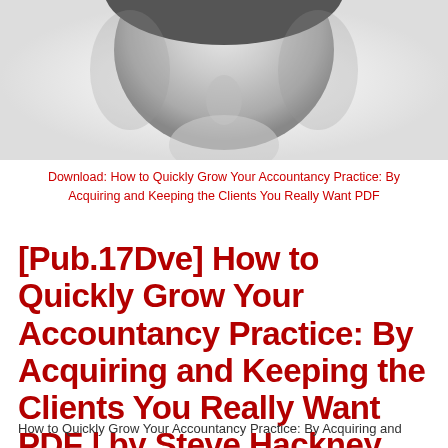[Figure (photo): Grayscale photo of a person's face, partially cropped, showing forehead and facial features against a light background]
Download: How to Quickly Grow Your Accountancy Practice: By Acquiring and Keeping the Clients You Really Want PDF
[Pub.17Dve] How to Quickly Grow Your Accountancy Practice: By Acquiring and Keeping the Clients You Really Want PDF | by Steve Hackney
How to Quickly Grow Your Accountancy Practice: By Acquiring and